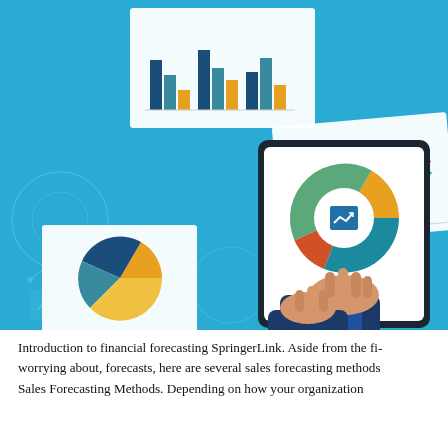[Figure (illustration): Business analytics illustration on bright blue background. Shows a person's hands holding a tablet with a donut chart and trending arrow icon on screen, finger pointing at it. Around the tablet float several white card panels containing: a grouped bar chart (dark blue, teal, orange bars), a line chart (teal and orange zigzag lines), a pie chart (teal, dark blue, yellow-orange slices), and a scatter/line plot outline. Background has faint circular graph and bar chart outlines in lighter blue.]
Introduction to financial forecasting SpringerLink. Aside from the fi... worrying about, forecasts, here are several sales forecasting methods... Sales Forecasting Methods. Depending on how your organization...